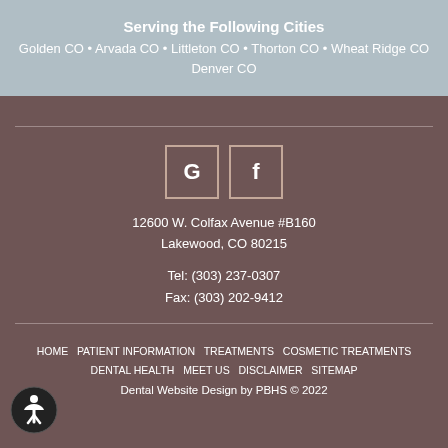Serving the Following Cities
Golden CO • Arvada CO • Littleton CO • Thorton CO • Wheat Ridge CO
Denver CO
[Figure (logo): Google and Facebook social media icon boxes with G and f letters]
12600 W. Colfax Avenue #B160
Lakewood, CO 80215
Tel: (303) 237-0307
Fax: (303) 202-9412
HOME  PATIENT INFORMATION  TREATMENTS  COSMETIC TREATMENTS  DENTAL HEALTH  MEET US  DISCLAIMER  SITEMAP
Dental Website Design by PBHS © 2022